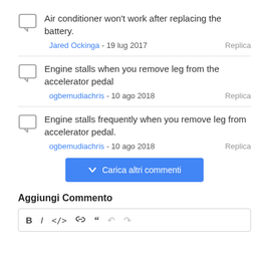Air conditioner won't work after replacing the battery.
Jared Ockinga - 19 lug 2017  Replica
Engine stalls when you remove leg from the accelerator pedal
ogbemudiachris - 10 ago 2018  Replica
Engine stalls frequently when you remove leg from accelerator pedal.
ogbemudiachris - 10 ago 2018  Replica
Carica altri commenti
Aggiungi Commento